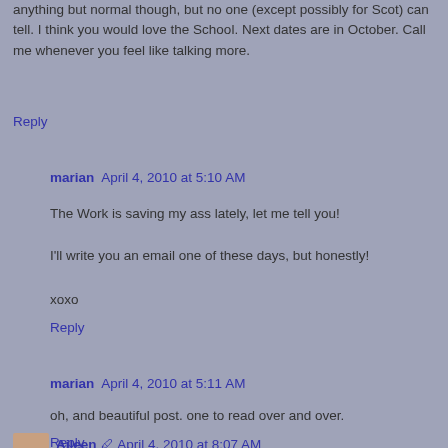anything but normal though, but no one (except possibly for Scot) can tell. I think you would love the School. Next dates are in October. Call me whenever you feel like talking more.
Reply
marian April 4, 2010 at 5:10 AM
The Work is saving my ass lately, let me tell you!
I'll write you an email one of these days, but honestly!
xoxo
Reply
marian April 4, 2010 at 5:11 AM
oh, and beautiful post. one to read over and over.
Reply
Aileen April 4, 2010 at 8:07 AM